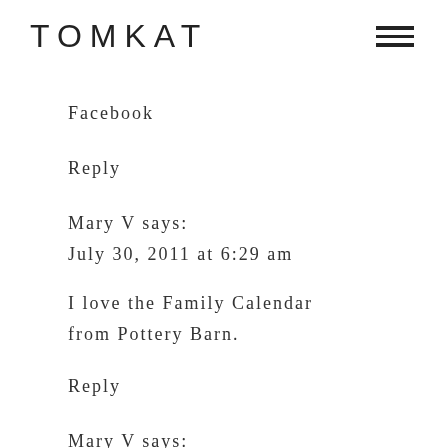TOMKAT
Facebook
Reply
Mary V says:
July 30, 2011 at 6:29 am
I love the Family Calendar from Pottery Barn.
Reply
Mary V says: